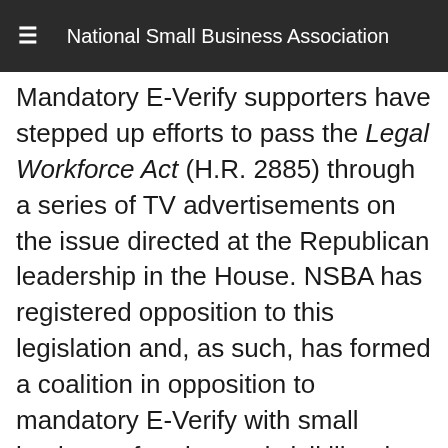National Small Business Association
Mandatory E-Verify supporters have stepped up efforts to pass the Legal Workforce Act (H.R. 2885) through a series of TV advertisements on the issue directed at the Republican leadership in the House. NSBA has registered opposition to this legislation and, as such, has formed a coalition in opposition to mandatory E-Verify with small business, farming and civil liberties organizations, among others.
The Legal Workforce Act would